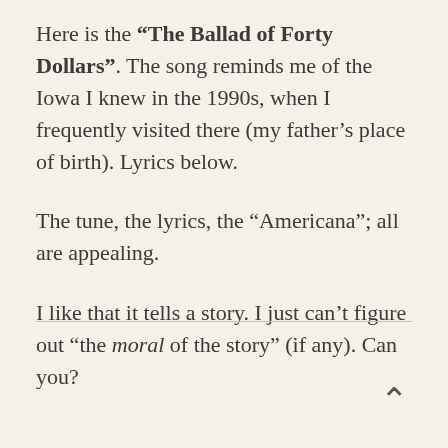Here is the "The Ballad of Forty Dollars". The song reminds me of the Iowa I knew in the 1990s, when I frequently visited there (my father's place of birth). Lyrics below.
The tune, the lyrics, the “Americana”; all are appealing.
I like that it tells a story. I just can’t figure out “the moral of the story” (if any). Can you?